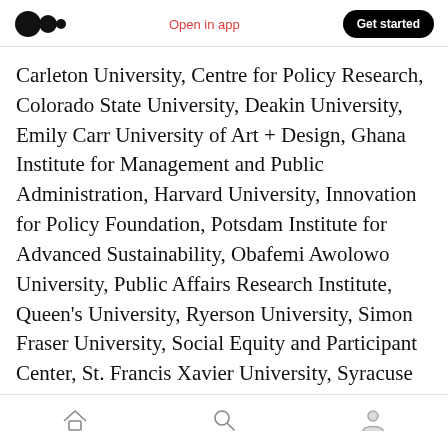Open in app | Get started
Carleton University, Centre for Policy Research, Colorado State University, Deakin University, Emily Carr University of Art + Design, Ghana Institute for Management and Public Administration, Harvard University, Innovation for Policy Foundation, Potsdam Institute for Advanced Sustainability, Obafemi Awolowo University, Public Affairs Research Institute, Queen's University, Ryerson University, Simon Fraser University, Social Equity and Participant Center, St. Francis Xavier University, Syracuse University, United Nations University,
Home | Search | Profile